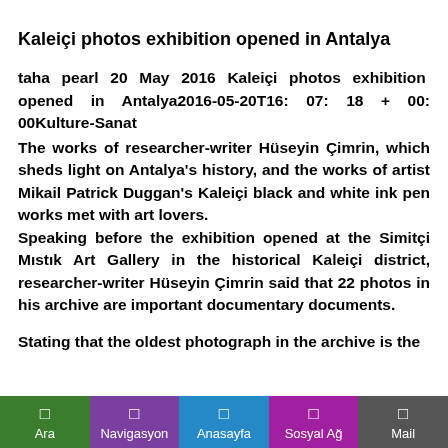Kaleiçi photos exhibition opened in Antalya
taha pearl 20 May 2016 Kaleiçi photos exhibition opened in Antalya2016-05-20T16: 07: 18 + 00: 00Kulture-Sanat
The works of researcher-writer Hüseyin Çimrin, which sheds light on Antalya's history, and the works of artist Mikail Patrick Duggan's Kaleiçi black and white ink pen works met with art lovers.
Speaking before the exhibition opened at the Simitçi Mıstık Art Gallery in the historical Kaleiçi district, researcher-writer Hüseyin Çimrin said that 22 photos in his archive are important documentary documents.
Stating that the oldest photograph in the archive is the
Ara  Navigasyon  Anasayfa  Sosyal Ağ  Mail